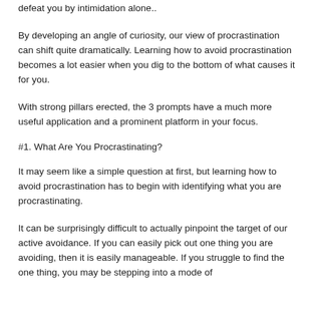defeat you by intimidation alone..
By developing an angle of curiosity, our view of procrastination can shift quite dramatically. Learning how to avoid procrastination becomes a lot easier when you dig to the bottom of what causes it for you.
With strong pillars erected, the 3 prompts have a much more useful application and a prominent platform in your focus.
#1. What Are You Procrastinating?
It may seem like a simple question at first, but learning how to avoid procrastination has to begin with identifying what you are procrastinating.
It can be surprisingly difficult to actually pinpoint the target of our active avoidance. If you can easily pick out one thing you are avoiding, then it is easily manageable. If you struggle to find the one thing, you may be stepping into a mode of